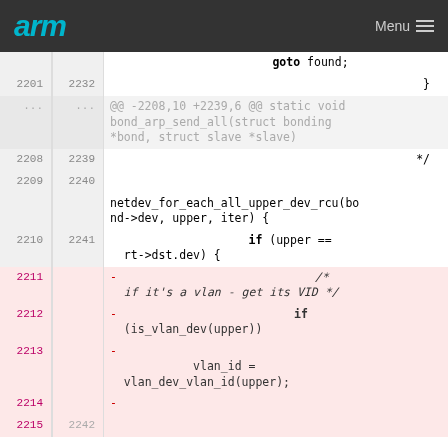arm  Menu
[Figure (screenshot): Code diff view showing lines 2201-2215/2232-2242 of a Linux kernel bonding driver file. Lines 2211-2214 are removed (shown in pink/red). The diff shows removal of VLAN ID detection code inside netdev_for_each_all_upper_dev_rcu loop.]